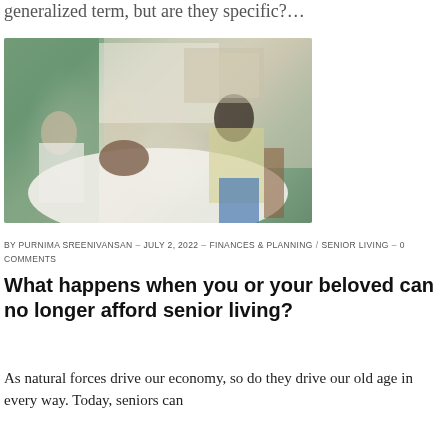generalized term, but are they specific?…
[Figure (photo): Two caregivers attending to an elderly person lying in a bed in a bedroom setting. One caregiver wears white and leans over from the left; another in a yellow top reaches from the right. Green curtains are visible in the background.]
BY PURNIMA SREENIVANSAN – JULY 2, 2022 – FINANCES & PLANNING / SENIOR LIVING – 0 COMMENTS
What happens when you or your beloved can no longer afford senior living?
As natural forces drive our economy, so do they drive our old age in every way. Today, seniors can